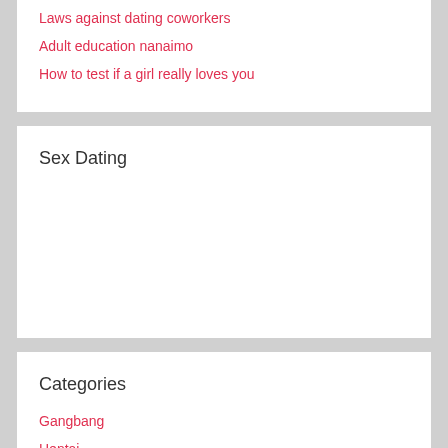Laws against dating coworkers
Adult education nanaimo
How to test if a girl really loves you
Sex Dating
Categories
Gangbang
Hentai